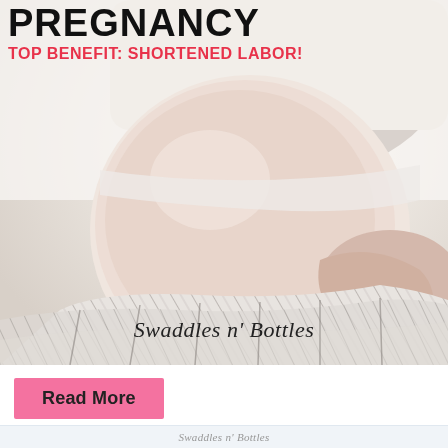PREGNANCY
TOP BENEFIT: SHORTENED LABOR!
[Figure (photo): Pregnant woman in white top sitting down, holding her large baby bump with both hands, wearing striped wide-leg pants. Light, bright background. Watermark reads 'Swaddles n' Bottles' in script.]
Swaddles n' Bottles
Read More
Swaddles n' Bottles